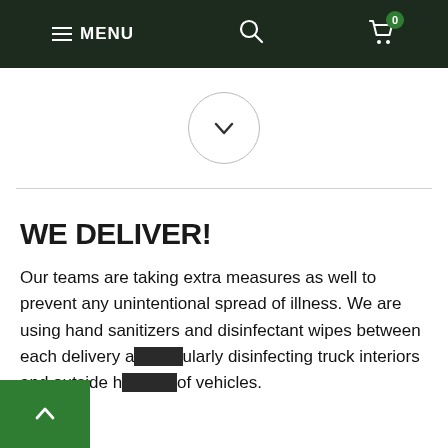MENU | search | cart 0
[Figure (illustration): Chevron/down arrow inside a circle, centered on white background]
WE DELIVER!
Our teams are taking extra measures as well to prevent any unintentional spread of illness. We are using hand sanitizers and disinfectant wipes between each delivery and regularly disinfecting truck interiors and outside handles of vehicles.